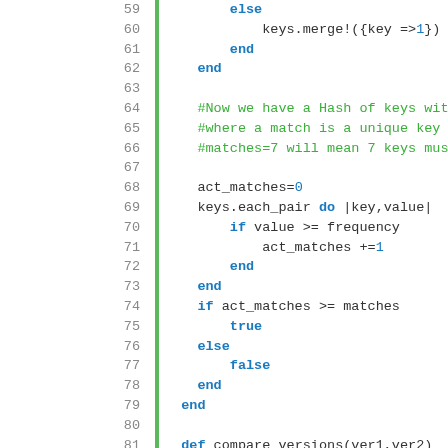[Figure (screenshot): Ruby source code snippet showing lines 59-85. Lines 59-66 show an else/end block and hash comments. Lines 68-79 show act_matches logic with each_pair iteration, if/else/end blocks. Lines 81-85 show def compare_versions method start.]